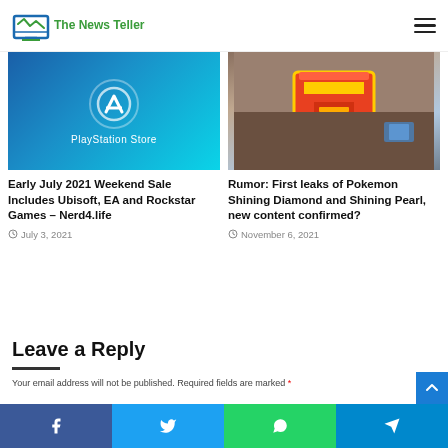The News Teller
[Figure (photo): PlayStation Store promotional image with blue background and PS logo]
Early July 2021 Weekend Sale Includes Ubisoft, EA and Rockstar Games – Nerd4.life
July 3, 2021
[Figure (photo): Pokemon Shining Diamond aerial game screenshot showing town area]
Rumor: First leaks of Pokemon Shining Diamond and Shining Pearl, new content confirmed?
November 6, 2021
Leave a Reply
Your email address will not be published. Required fields are marked *